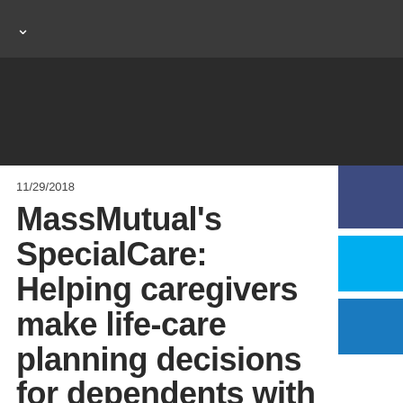11/29/2018
MassMutual's SpecialCare: Helping caregivers make life-care planning decisions for dependents with special needs